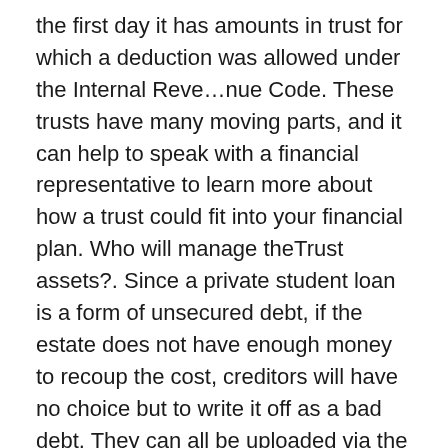the first day it has amounts in trust for which a deduction was allowed under the Internal Reve...nue Code. These trusts have many moving parts, and it can help to speak with a financial representative to learn more about how a trust could fit into your financial plan. Who will manage theTrust assets?. Since a private student loan is a form of unsecured debt, if the estate does not have enough money to recoup the cost, creditors will have no choice but to write it off as a bad debt. They can all be uploaded via the LASC online portal if registered for efiling. Most often, the executor is the estate's representative for all purposes and can sue or be sued on behalf of the estate. Writing your own Will is a relatively simple process. Third, unlike the terms of a will, the terms of a trust are private. Is it true that after 7 years your credit is clear? Even